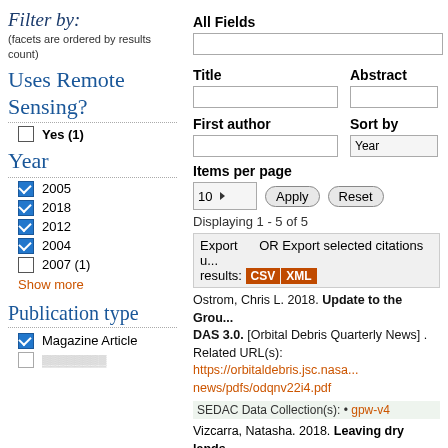Filter by:
(facets are ordered by results count)
Uses Remote Sensing?
Yes (1)
Year
2005
2018
2012
2004
2007 (1)
Show more
Publication type
Magazine Article
All Fields
Title
Abstract
First author
Sort by
Items per page
Displaying 1 - 5 of 5
Export   OR Export selected citations u... results: CSV XML
Ostrom, Chris L. 2018. Update to the Grou... DAS 3.0. [Orbital Debris Quarterly News] . Related URL(s): https://orbitaldebris.jsc.nasa.../news/pdfs/odqnv22i4.pdf
SEDAC Data Collection(s): • gpw-v4
Vizcarra, Natasha. 2018. Leaving dry lands...